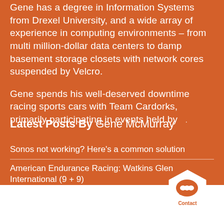Gene has a degree in Information Systems from Drexel University, and a wide array of experience in computing environments – from multi million-dollar data centers to damp basement storage closets with network cores suspended by Velcro.
Gene spends his well-deserved downtime racing sports cars with Team Cardorks, primarily participating in events held by .
Latest Posts By Gene McMurray
Sonos not working? Here's a common solution
American Endurance Racing: Watkins Glen International (9 + 9)
[Figure (illustration): Hexagon-shaped contact button icon with speech bubble icon and 'Contact' text label]